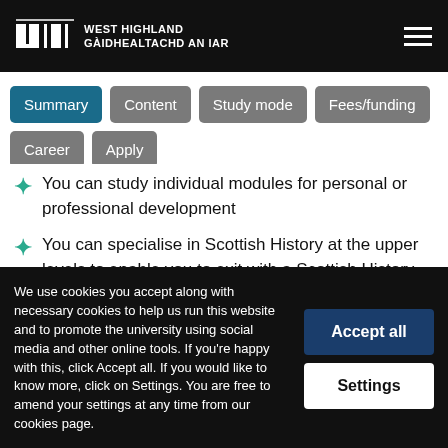WEST HIGHLAND GÀIDHEALTACHD AN IAR
Summary
Content
Study mode
Fees/funding
Career
Apply
You can study individual modules for personal or professional development
You can specialise in Scottish History at the upper levels to enable you to exit with a Scottish History and Archaeology degree
The humanities staff at UHI specialise in high
We use cookies you accept along with necessary cookies to help us run this website and to promote the university using social media and other online tools. If you're happy with this, click Accept all. If you would like to know more, click on Settings. You are free to amend your settings at any time from our cookies page.
Accept all
Settings